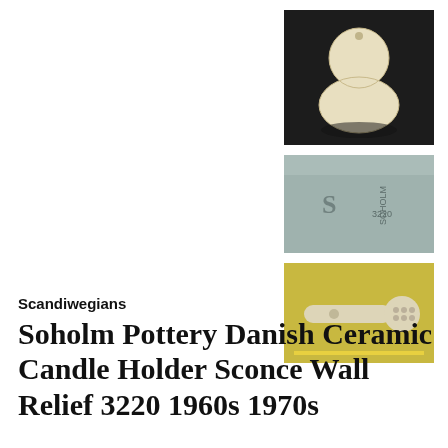[Figure (photo): Back view of a ceramic candle holder sconce, teardrop/bulb shape, beige/cream colored, on dark background]
[Figure (photo): Close-up of pottery maker's mark stamp on grey ceramic surface, showing Soholm mark]
[Figure (photo): Front/bottom view of ceramic candle holder sconce showing relief pattern, on yellow background]
Scandiwegians
Soholm Pottery Danish Ceramic Candle Holder Sconce Wall Relief 3220 1960s 1970s